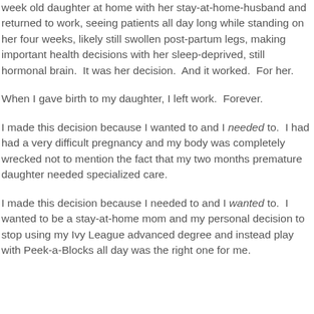week old daughter at home with her stay-at-home-husband and returned to work, seeing patients all day long while standing on her four weeks, likely still swollen post-partum legs, making important health decisions with her sleep-deprived, still hormonal brain.  It was her decision.  And it worked.  For her.
When I gave birth to my daughter, I left work.  Forever.
I made this decision because I wanted to and I needed to.  I had had a very difficult pregnancy and my body was completely wrecked not to mention the fact that my two months premature daughter needed specialized care.
I made this decision because I needed to and I wanted to.  I wanted to be a stay-at-home mom and my personal decision to stop using my Ivy League advanced degree and instead play with Peek-a-Blocks all day was the right one for me.